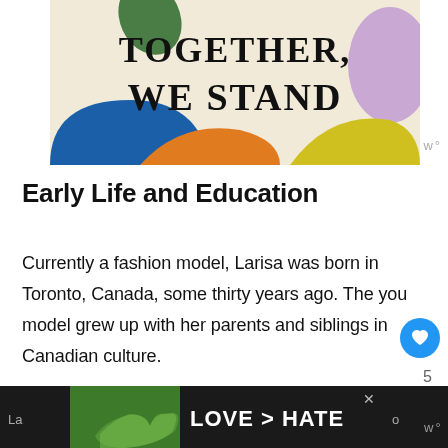[Figure (illustration): Advertisement banner with colorful abstract blob shapes on a cream background. Text reads 'TOGETHER, WE STAND' in bold serif font. Green leaf shape top, blue and orange blobs bottom-left, yellow and purple blobs bottom-right.]
Early Life and Education
Currently a fashion model, Larisa was born in Toronto, Canada, some thirty years ago. The you model grew up with her parents and siblings in Canadian culture.
[Figure (photo): Bottom advertisement banner showing hands forming a heart shape against a green background, with text 'LOVE > HATE' in white bold letters on dark background.]